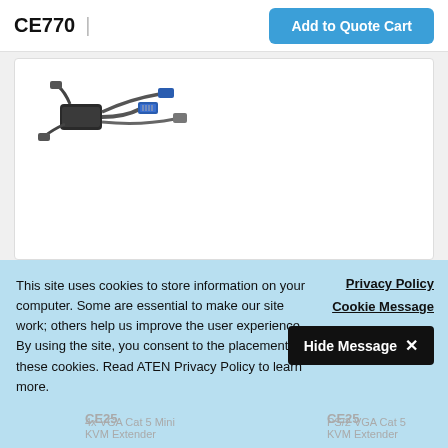CE770 | Add to Quote Cart
[Figure (photo): KVM cable with multiple connectors (VGA, USB, PS/2) spread out, product image for CE770]
Relevant Products — View All
This site uses cookies to store information on your computer. Some are essential to make our site work; others help us improve the user experience. By using the site, you consent to the placement of these cookies. Read ATEN Privacy Policy to learn more.
Privacy Policy
Cookie Message
Hide Message ✕